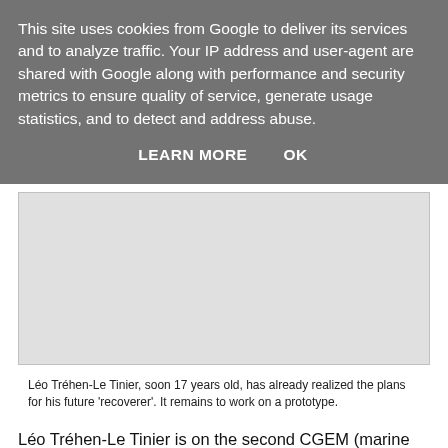This site uses cookies from Google to deliver its services and to analyze traffic. Your IP address and user-agent are shared with Google along with performance and security metrics to ensure quality of service, generate usage statistics, and to detect and address abuse.
LEARN MORE    OK
[Figure (photo): Placeholder/blank image area (gray rectangle representing a photo or image that is not loaded)]
Léo Tréhen-Le Tinier, soon 17 years old, has already realized the plans for his future 'recoverer'. It remains to work on a prototype.
Léo Tréhen-Le Tinier is on the second CGEM (marine management course) at the maritime high school of Paimpol. Already a CAP sailor in hand, obtained last year, and the quiet assurance of a young man who knows what he wants: "To become a fisherman-owner". Not a predestined vocation...